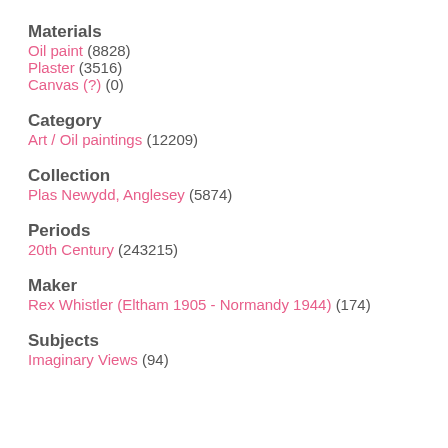Materials
Oil paint (8828)
Plaster (3516)
Canvas (?) (0)
Category
Art / Oil paintings (12209)
Collection
Plas Newydd, Anglesey (5874)
Periods
20th Century (243215)
Maker
Rex Whistler (Eltham 1905 - Normandy 1944) (174)
Subjects
Imaginary Views (94)